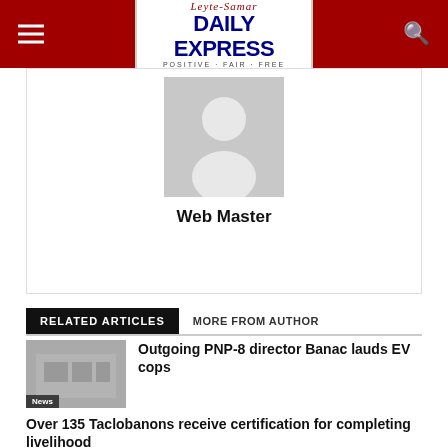Leyte-Samar DAILY EXPRESS POSITIVE · FAIR · FREE
[Figure (photo): Default avatar placeholder image - grey silhouette of a person]
Web Master
RELATED ARTICLES   MORE FROM AUTHOR
[Figure (photo): News article thumbnail image showing group of people]
Outgoing PNP-8 director Banac lauds EV cops
Over 135 Taclobanons receive certification for completing livelihood